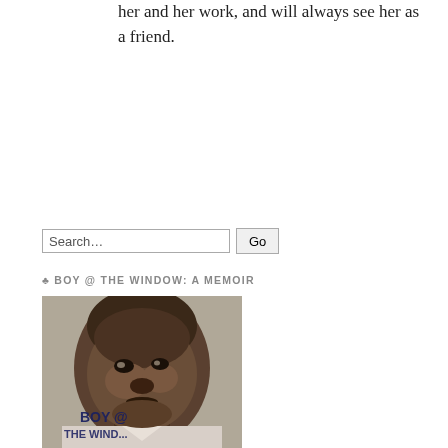her and her work, and will always see her as a friend.
Search...
♣ BOY @ THE WINDOW: A MEMOIR
[Figure (photo): Black and white photo of a young Black boy, used as a book cover image for 'Boy @ The Window: A Memoir']